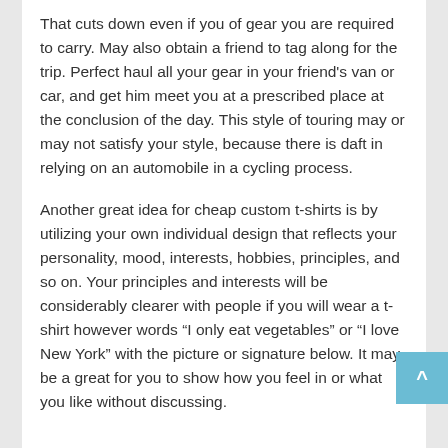That cuts down even if you of gear you are required to carry. May also obtain a friend to tag along for the trip. Perfect haul all your gear in your friend's van or car, and get him meet you at a prescribed place at the conclusion of the day. This style of touring may or may not satisfy your style, because there is daft in relying on an automobile in a cycling process.
Another great idea for cheap custom t-shirts is by utilizing your own individual design that reflects your personality, mood, interests, hobbies, principles, and so on. Your principles and interests will be considerably clearer with people if you will wear a t-shirt however words “I only eat vegetables” or “I love New York” with the picture or signature below. It may be a great for you to show how you feel in or what you like without discussing.